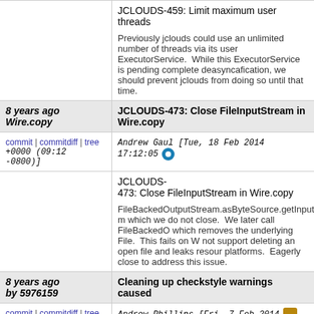JCLOUDS-459: Limit maximum user threads

Previously jclouds could use an unlimited number user ExecutorService. While this ExecutorService complete deasyncafication, we should prevent jclouds until that time.
8 years ago Wire.copy | JCLOUDS-473: Close FileInputStream in Wire.copy
Andrew Gaul [Tue, 18 Feb 2014 17:12:05 +0000 (09:12 -0800)]
JCLOUDS-473: Close FileInputStream in Wire.copy

FileBackedOutputStream.asByteSource.getInput which we do not close. We later call FileBackedO which removes the underlying File. This fails on W not support deleting an open file and leaks resour platforms. Eagerly close to address this issue.
8 years ago by 5976159 | Cleaning up checkstyle warnings caused by 5976159
Andrew Phillips [Fri, 7 Feb 2014 13:37:15 +0000 (13:37 +0000)]